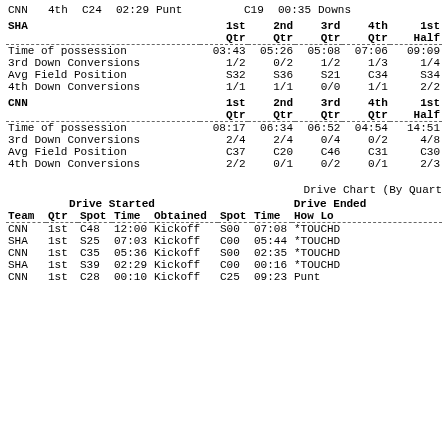|  |  |  |  |  |  |  |  |  |
| --- | --- | --- | --- | --- | --- | --- | --- | --- |
| CNN | 4th | C24 | 02:29 | Punt |  | C19 | 00:35 | Downs |
| SHA | 1st Qtr | 2nd Qtr | 3rd Qtr | 4th Qtr | 1st Half |
| --- | --- | --- | --- | --- | --- |
| Time of possession | 03:43 | 05:26 | 05:08 | 07:06 | 09:09 |
| 3rd Down Conversions | 1/2 | 0/2 | 1/2 | 1/3 | 1/4 |
| Avg Field Position | S32 | S36 | S21 | C34 | S34 |
| 4th Down Conversions | 1/1 | 1/1 | 0/0 | 1/1 | 2/2 |
| CNN | 1st Qtr | 2nd Qtr | 3rd Qtr | 4th Qtr | 1st Half |
| --- | --- | --- | --- | --- | --- |
| Time of possession | 08:17 | 06:34 | 06:52 | 04:54 | 14:51 |
| 3rd Down Conversions | 2/4 | 2/4 | 0/4 | 0/2 | 4/8 |
| Avg Field Position | C37 | C20 | C46 | C31 | C30 |
| 4th Down Conversions | 2/2 | 0/1 | 0/2 | 0/1 | 2/3 |
Drive Chart (By Quart
| Team | Qtr | Spot | Time | Obtained | Spot | Time | How Lo |
| --- | --- | --- | --- | --- | --- | --- | --- |
| CNN | 1st | C48 | 12:00 | Kickoff | S00 | 07:08 | *TOUCHD |
| SHA | 1st | S25 | 07:03 | Kickoff | C00 | 05:44 | *TOUCHD |
| CNN | 1st | C35 | 05:36 | Kickoff | S00 | 02:35 | *TOUCHD |
| SHA | 1st | S39 | 02:29 | Kickoff | C00 | 00:16 | *TOUCHD |
| CNN | 1st | C28 | 00:10 | Kickoff | C25 | 09:23 | Punt |